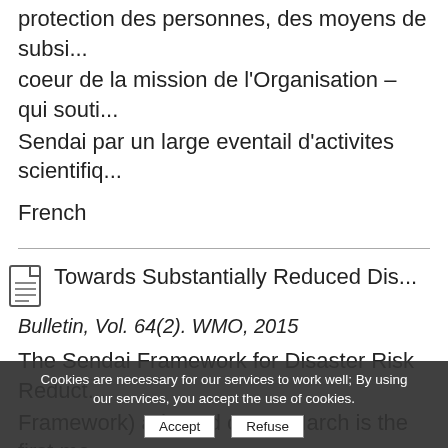protection des personnes, des moyens de subsistance, coeur de la mission de l'Organisation – qui soutient le Cadre de Sendai par un large eventail d'activites scientifiques
French
Towards Substantially Reduced Dis...
Bulletin, Vol. 64(2). WMO, 2015
The Sendai Framework for Disaster Risk Reduction (Sendai Framework) adopted on 18 March is the first major outcome of the post-2015 agenda. Its seven global targets and four priorities are particularly relevant to WMO. Disaster risk reduction (DRR) is one of the key areas of the Organization. Protecting lives, livelihoods
Cookies are necessary for our services to work well; By using our services, you accept the use of cookies.